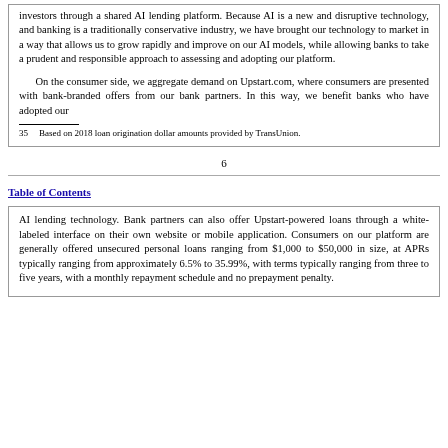investors through a shared AI lending platform. Because AI is a new and disruptive technology, and banking is a traditionally conservative industry, we have brought our technology to market in a way that allows us to grow rapidly and improve on our AI models, while allowing banks to take a prudent and responsible approach to assessing and adopting our platform.

On the consumer side, we aggregate demand on Upstart.com, where consumers are presented with bank-branded offers from our bank partners. In this way, we benefit banks who have adopted our
35  Based on 2018 loan origination dollar amounts provided by TransUnion.
6
Table of Contents
AI lending technology. Bank partners can also offer Upstart-powered loans through a white-labeled interface on their own website or mobile application. Consumers on our platform are generally offered unsecured personal loans ranging from $1,000 to $50,000 in size, at APRs typically ranging from approximately 6.5% to 35.99%, with terms typically ranging from three to five years, with a monthly repayment schedule and no prepayment penalty.